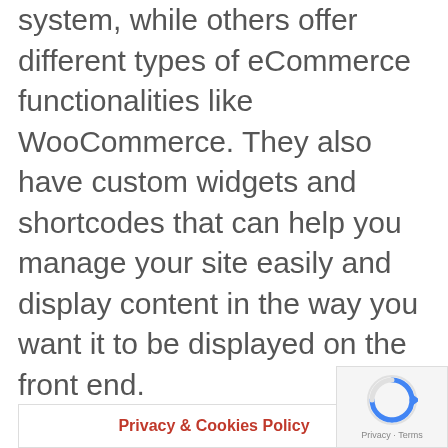system, while others offer different types of eCommerce functionalities like WooCommerce. They also have custom widgets and shortcodes that can help you manage your site easily and display content in the way you want it to be displayed on the front end.

There are thousands of themes that could potentially work for accounting firms but not all of them will be
Privacy & Cookies Policy